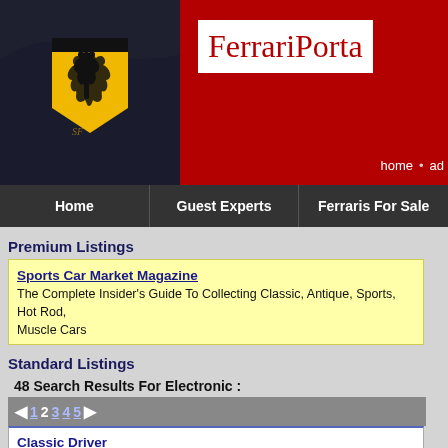[Figure (photo): Ferrari car with yellow prancing horse shield badge on dark body panel]
FerrariPorta
home  ad
Home
Guest Experts
Ferraris For Sale
Premium Listings
Sports Car Market Magazine
The Complete Insider's Guide To Collecting Classic, Antique, Sports, Hot Rod, Muscle Cars
Standard Listings
48 Search Results For Electronic :
◄ 1 2 3 4 5 ►
Classic Driver
Print and online magazine for classic and exotic cars. One of the best resources for the enthusiast!
ClassicDriver.com
ClassicDriver.com - the exclusive webzine with more than 5,000 luxury- and classic cars like Aston Martin, Bentley, Ferrari and Rolls-Royce. Daily updated articles...